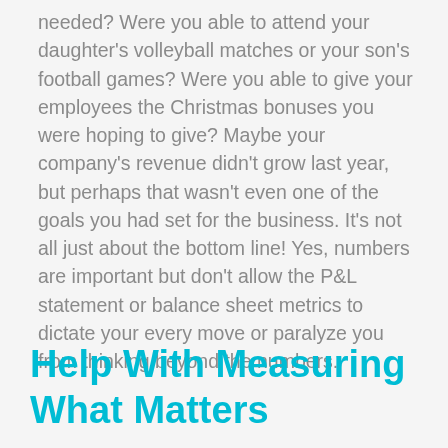needed? Were you able to attend your daughter's volleyball matches or your son's football games? Were you able to give your employees the Christmas bonuses you were hoping to give? Maybe your company's revenue didn't grow last year, but perhaps that wasn't even one of the goals you had set for the business. It's not all just about the bottom line! Yes, numbers are important but don't allow the P&L statement or balance sheet metrics to dictate your every move or paralyze you from thinking beyond the numbers.
Help With Measuring What Matters